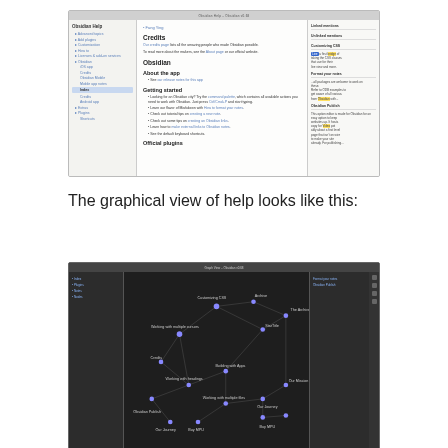[Figure (screenshot): Screenshot of Obsidian help documentation interface showing left navigation panel with menu items including Credits, Index, etc., center content panel showing Credits section with About the app and Getting started content, and right panel showing formatting options. The interface shows Obsidian's help documentation with sections for Credits, Obsidian, About the app, Getting started, and Official plugins.]
The graphical view of help looks like this:
[Figure (screenshot): Screenshot of Obsidian graph view showing a dark interface with a network graph visualization. Nodes are connected with lines showing relationships between different help topics. The left panel shows navigation items (Index, Plugins, Notes, Nodes), right panel shows additional options, and there is a sidebar with icons on the far right. The graph shows interconnected nodes with labels like 'Customizing CSS', 'Working with multiple cursors', 'Working with headings', 'Working with multiple files', 'Our Mission', 'The Archive', 'Our Journey', 'Buy MPU' etc.]